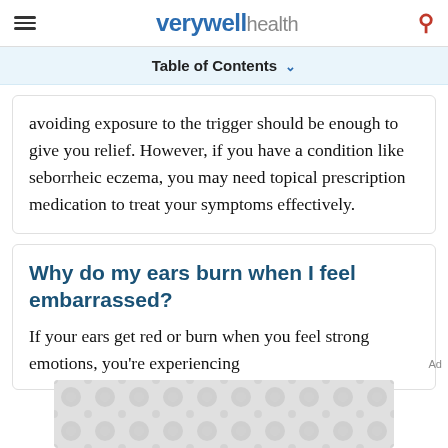verywell health
Table of Contents
avoiding exposure to the trigger should be enough to give you relief. However, if you have a condition like seborrheic eczema, you may need topical prescription medication to treat your symptoms effectively.
Why do my ears burn when I feel embarrassed?
If your ears get red or burn when you feel strong emotions, you're experiencing
[Figure (other): Advertisement placeholder with decorative dot/circle pattern in gray]